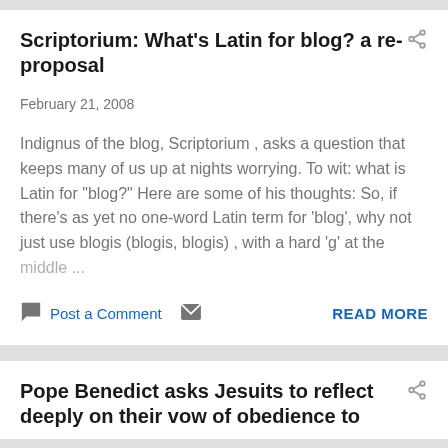Scriptorium: What's Latin for blog? a re-proposal
February 21, 2008
Indignus of the blog, Scriptorium , asks a question that keeps many of us up at nights worrying. To wit: what is Latin for "blog?" Here are some of his thoughts: So, if there's as yet no one-word Latin term for 'blog', why not just use blogis (blogis, blogis) , with a hard 'g' at the middle ...
Post a Comment
READ MORE
Pope Benedict asks Jesuits to reflect deeply on their vow of obedience to